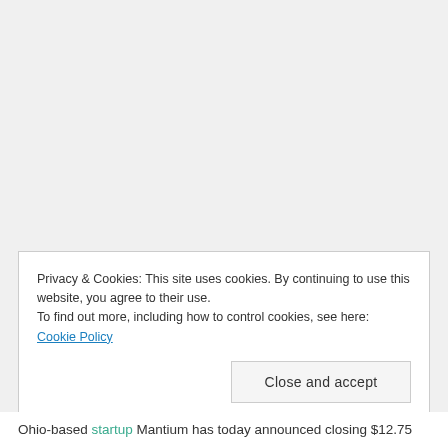Privacy & Cookies: This site uses cookies. By continuing to use this website, you agree to their use.
To find out more, including how to control cookies, see here: Cookie Policy
Close and accept
Ohio-based startup Mantium has today announced closing $12.75